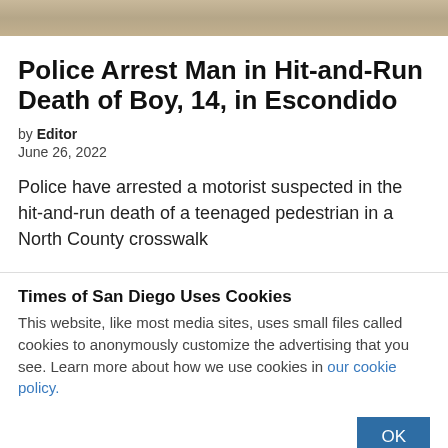[Figure (photo): Partial photo strip at top of page, showing a blurred indoor/outdoor scene with warm tones]
Police Arrest Man in Hit-and-Run Death of Boy, 14, in Escondido
by Editor
June 26, 2022
Police have arrested a motorist suspected in the hit-and-run death of a teenaged pedestrian in a North County crosswalk
Times of San Diego Uses Cookies
This website, like most media sites, uses small files called cookies to anonymously customize the advertising that you see. Learn more about how we use cookies in our cookie policy.